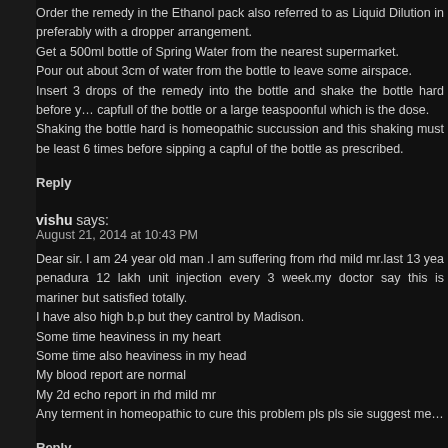Order the remedy in the Ethanol pack also referred to as Liquid Dilution in preferably with a dropper arrangement.
Get a 500ml bottle of Spring Water from the nearest supermarket.
Pour out about 3cm of water from the bottle to leave some airspace.
Insert 3 drops of the remedy into the bottle and shake the bottle hard before you capfull of the bottle or a large teaspoonful which is the dose.
Shaking the bottle hard is homeopathic succussion and this shaking must be least 6 times before sipping a capful of the bottle as prescribed.
Reply
vishu says:
August 21, 2014 at 10:43 PM
Dear sir. I am 24 year old man .I am suffering from rhd mild mr.last 13 yea penadura 12 lakh unit injection every 3 week.my doctor say this is mariner but satisfied totally.
I have also high b.p but they cantrol by Madison.
Some time heaviness in my heart
Some time also heaviness in my head
My blood report are normal
My 2d echo report in rhd mild mr
Any terment in homeopathic to cure this problem pls pls sie suggest me…
Reply
Joe says: